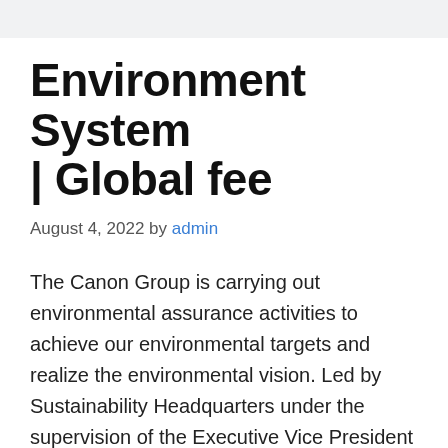Environment System | Global fee
August 4, 2022 by admin
The Canon Group is carrying out environmental assurance activities to achieve our environmental targets and realize the environmental vision. Led by Sustainability Headquarters under the supervision of the Executive Vice President of Canon Inc., we carry out environmental activities in a global system that unites